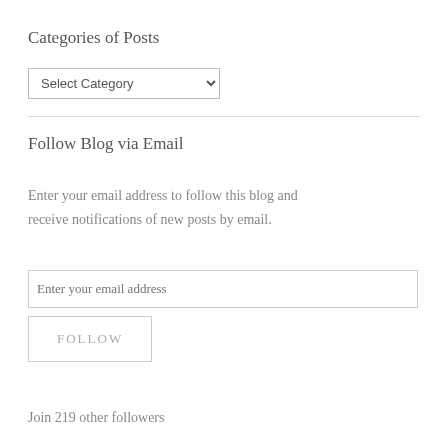Categories of Posts
Select Category
Follow Blog via Email
Enter your email address to follow this blog and receive notifications of new posts by email.
Enter your email address
FOLLOW
Join 219 other followers